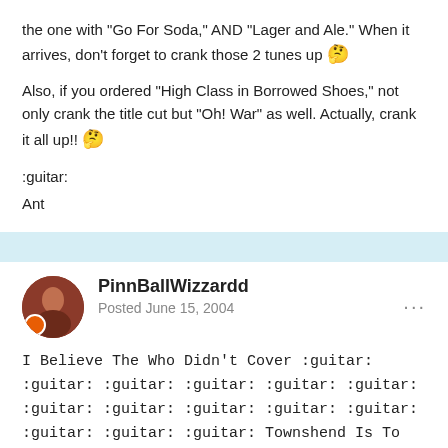the one with "Go For Soda," AND "Lager and Ale." When it arrives, don't forget to crank those 2 tunes up 🤔
Also, if you ordered "High Class in Borrowed Shoes," not only crank the title cut but "Oh! War" as well. Actually, crank it all up!! 🤔
:guitar:
Ant
PinnBallWizzardd
Posted June 15, 2004
I Believe The Who Didn't Cover :guitar: :guitar: :guitar: :guitar: :guitar: :guitar: :guitar: :guitar: :guitar: :guitar: :guitar: :guitar: :guitar: :guitar: Townshend Is To Great To Use Someone Elses Music, But He May Have Covered In Concert